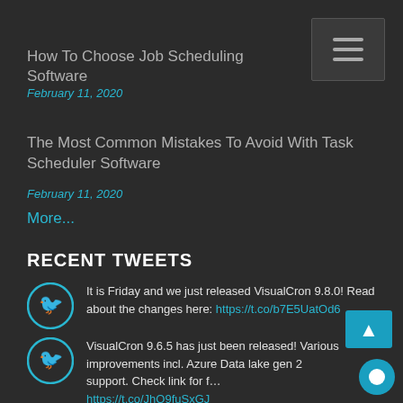[Figure (other): Hamburger menu icon button, top right]
How To Choose Job Scheduling Software
February 11, 2020
The Most Common Mistakes To Avoid With Task Scheduler Software
February 11, 2020
More...
RECENT TWEETS
It is Friday and we just released VisualCron 9.8.0! Read about the changes here: https://t.co/b7E5UatOd6
VisualCron 9.6.5 has just been released! Various improvements incl. Azure Data lake gen 2 support. Check link for f… https://t.co/JhQ9fuSxGJ
[Figure (other): Floating chat widget bottom right corner]